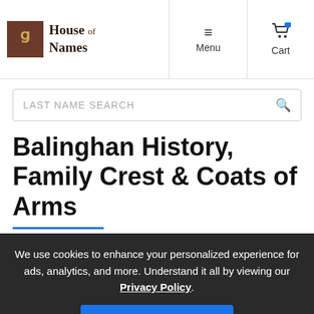House of Names — Menu — Cart
LAST NAME SEARCH
Balinghan History, Family Crest & Coats of Arms
We use cookies to enhance your personalized experience for ads, analytics, and more. Understand it all by viewing our Privacy Policy.
Accept & Continue